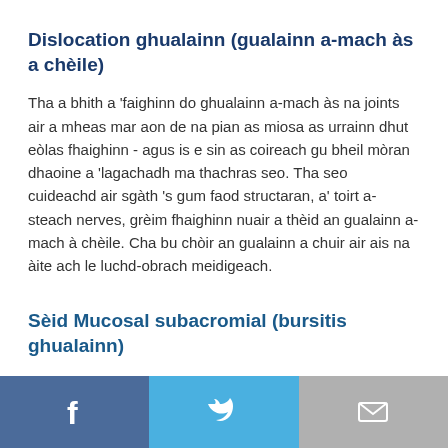Dislocation ghualainn (gualainn a-mach às a chèile)
Tha a bhith a 'faighinn do ghualainn a-mach às na joints air a mheas mar aon de na pian as miosa as urrainn dhut eòlas fhaighinn - agus is e sin as coireach gu bheil mòran dhaoine a 'lagachadh ma thachras seo. Tha seo cuideachd air sgàth 's gum faod structaran, a' toirt a-steach nerves, grèim fhaighinn nuair a thèid an gualainn a-mach à chèile. Cha bu chòir an gualainn a chuir air ais na àite ach le luchd-obrach meidigeach.
Sèid Mucosal subacromial (bursitis ghualainn)
Air beulaibh a 'ghualainn tha àite againn ris an canar
Facebook | Twitter | Email